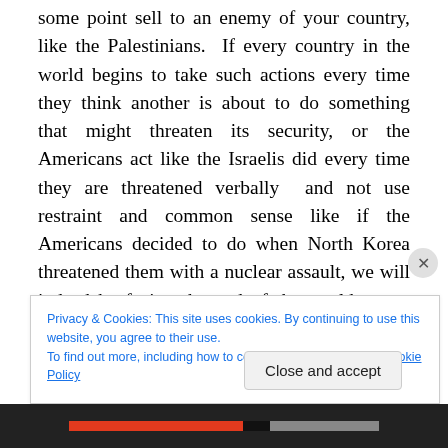some point sell to an enemy of your country, like the Palestinians.  If every country in the world begins to take such actions every time they think another is about to do something that might threaten its security, or the Americans act like the Israelis did every time they are threatened verbally  and not use restraint and common sense like if the Americans decided to do when North Korea threatened them with a nuclear assault, we will indeed be facing the end of the world as we now know it brought on by the mass destruction of everything due to
Privacy & Cookies: This site uses cookies. By continuing to use this website, you agree to their use.
To find out more, including how to control cookies, see here: Cookie Policy